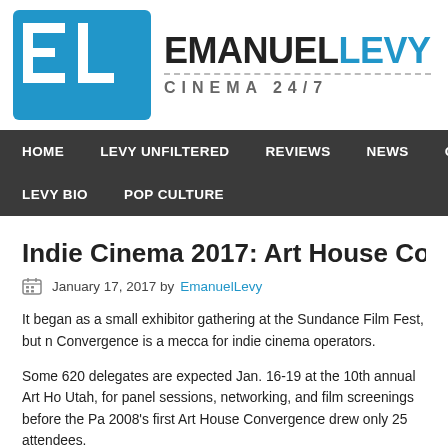[Figure (logo): EmanuelLevy Cinema 24/7 website logo with blue EL icon and black/blue text]
HOME  LEVY UNFILTERED  REVIEWS  NEWS  OSCA...  LEVY BIO  POP CULTURE
Indie Cinema 2017: Art House Converg...
January 17, 2017 by EmanuelLevy
It began as a small exhibitor gathering at the Sundance Film Fest, but n... Convergence is a mecca for indie cinema operators.
Some 620 delegates are expected Jan. 16-19 at the 10th annual Art Ho... Utah, for panel sessions, networking, and film screenings before the Pa... 2008's first Art House Convergence drew only 25 attendees.
The growth attests to the commitment of independent-cinema operators...